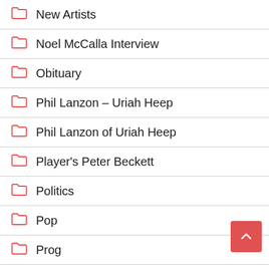New Artists
Noel McCalla Interview
Obituary
Phil Lanzon – Uriah Heep
Phil Lanzon of Uriah Heep
Player's Peter Beckett
Politics
Pop
Prog
Punk
R&B
Radio
Randy Bachman